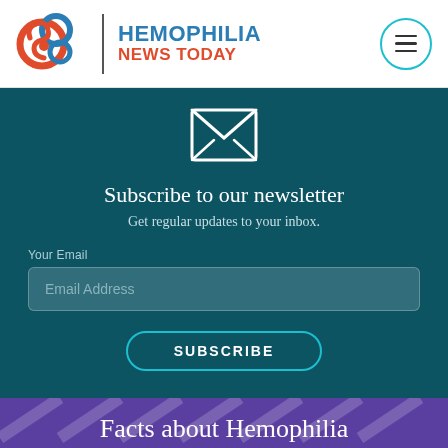[Figure (logo): Hemophilia News Today logo with circular interlinked icons in red and blue, site name in blue and red text, and hamburger menu button in teal circle]
[Figure (illustration): White envelope icon outline on teal/dark background]
Subscribe to our newsletter
Get regular updates to your inbox.
Your Email
Email Address
SUBSCRIBE
Facts about Hemophilia